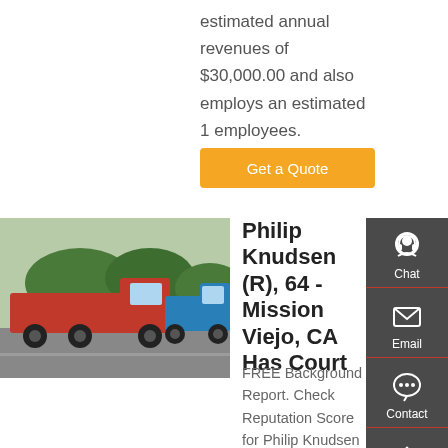estimated annual revenues of $30,000.00 and also employs an estimated 1 employees.
Get a Quote
[Figure (photo): Photo of red and blue dump trucks parked on a road with trees in the background]
Philip Knudsen (R), 64 - Mission Viejo, CA Has Court
FREE Background Report. Check Reputation Score for Philip Knudsen in Mission Viejo, CA - View Criminal & Court Records | Photos | Address, Emails & Phone Numbers |